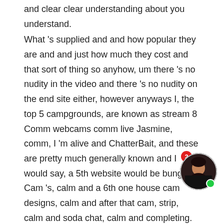and clear clear understanding about you understand.
What 's supplied and and how popular they are and and just how much they cost and that sort of thing so anyhow, um there 's no nudity in the video and there 's no nudity on the end site either, however anyways I, the top 5 campgrounds, are known as stream 8 Comm webcams comm live Jasmine, comm, I 'm alive and ChatterBait, and these are pretty much generally known and I would say, a 5th website would be bunga, Cam 's, calm and a 6th one house cam designs, calm and after that cam, strip, calm and soda chat, calm and completing.
The top, then you have actually a website called secure, live again directly below the video.
You can discover a lot more in detail about these camp sit anyways we 're going to talk most of all about the top cam and the number two ranked camping area streaming.
Comso streaming comm, there 's no cost whatsoever to sign up with the site.
[Figure (photo): Circular avatar thumbnail of a woman with a red notification badge showing '2' and a green online indicator dot.]